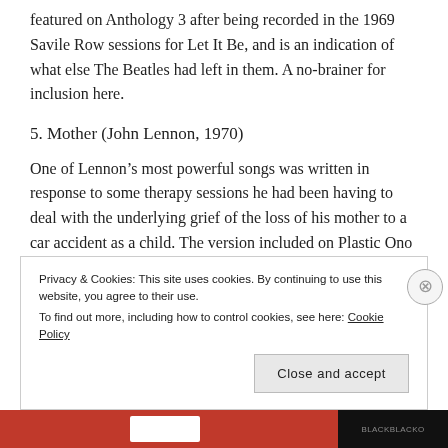featured on Anthology 3 after being recorded in the 1969 Savile Row sessions for Let It Be, and is an indication of what else The Beatles had left in them. A no-brainer for inclusion here.
5. Mother (John Lennon, 1970)
One of Lennon's most powerful songs was written in response to some therapy sessions he had been having to deal with the underlying grief of the loss of his mother to a car accident as a child. The version included on Plastic Ono Band featured Ringo on drums and shows a different side to Lennon than is
Privacy & Cookies: This site uses cookies. By continuing to use this website, you agree to their use.
To find out more, including how to control cookies, see here: Cookie Policy
Close and accept